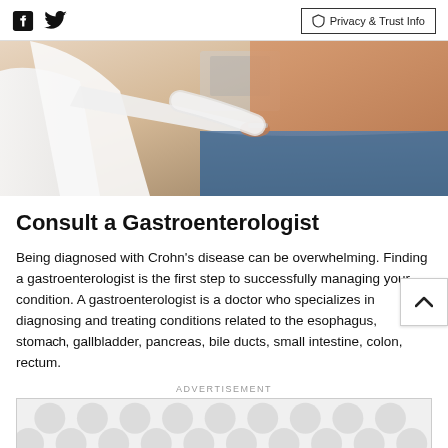Facebook Twitter Privacy & Trust Info
[Figure (photo): A doctor in a white coat examining a patient's abdomen, patient is shirtless wearing jeans, medical equipment visible in background.]
Consult a Gastroenterologist
Being diagnosed with Crohn's disease can be overwhelming. Finding a gastroenterologist is the first step to successfully managing your condition. A gastroenterologist is a doctor who specializes in diagnosing and treating conditions related to the esophagus, stomach, gallbladder, pancreas, bile ducts, small intestine, colon, rectum.
ADVERTISEMENT